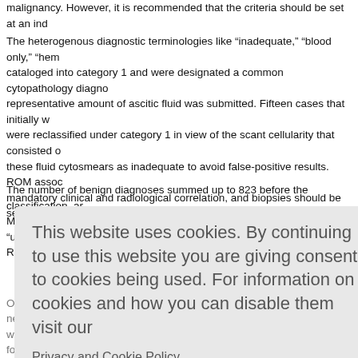malignancy. However, it is recommended that the criteria should be set at an ind
The heterogenous diagnostic terminologies like “inadequate,” “blood only,” “hem cataloged into category 1 and were designated a common cytopathology diagno representative amount of ascitic fluid was submitted. Fifteen cases that initially w were reclassified under category 1 in view of the scant cellularity that consisted o these fluid cytosmears as inadequate to avoid false-positive results. ROM assoc mandatory clinical and radiological correlation, and biopsies should be sent for h
The number of benign diagnoses summed up to 823 before the classification, ar Many cases that were labeled as benign were reclassified as “unsatisfactory” wh ROM for this category is low (14.9%).
ategories i ncy). In the ne use of a nay help to
and the a ound to be r f malignan arkers (EM
[Figure (screenshot): Cookie consent overlay with gray background. Text reads: 'This website uses cookies. By continuing to use this website you are giving consent to cookies being used. For information on cookies and how you can disable them visit our' followed by a 'Privacy and Cookie Policy.' link and an 'AGREE & PROCEED' red button.]
Only one previous study by Randa et al. has evaluated the ability of this newly with theirs. They found a ROM of 20%, 16.7%, 50%, 94.4%, and 100% for the d